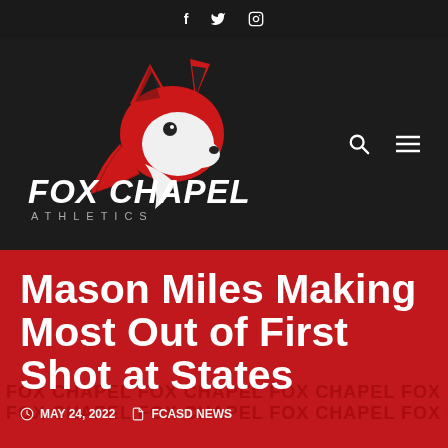Fox Chapel Athletics — social media header with Facebook, Twitter, Instagram icons
[Figure (logo): Fox Chapel Athletics logo — red and white fox head with FOX CHAPEL ATHLETICS text, dark background navigation bar with search and menu icons]
Mason Miles Making Most Out of First Shot at States
MAY 24, 2022   FCASD NEWS